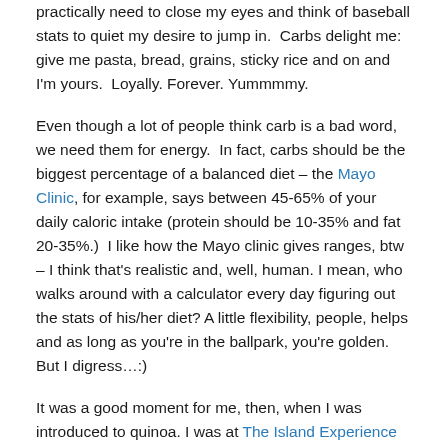practically need to close my eyes and think of baseball stats to quiet my desire to jump in.  Carbs delight me: give me pasta, bread, grains, sticky rice and on and I'm yours.  Loyally. Forever. Yummmmy.
Even though a lot of people think carb is a bad word, we need them for energy.  In fact, carbs should be the biggest percentage of a balanced diet – the Mayo Clinic, for example, says between 45-65% of your daily caloric intake (protein should be 10-35% and fat 20-35%.)  I like how the Mayo clinic gives ranges, btw – I think that's realistic and, well, human. I mean, who walks around with a calculator every day figuring out the stats of his/her diet? A little flexibility, people, helps and as long as you're in the ballpark, you're golden. But I digress…:)
It was a good moment for me, then, when I was introduced to quinoa. I was at The Island Experience in Brazil (see